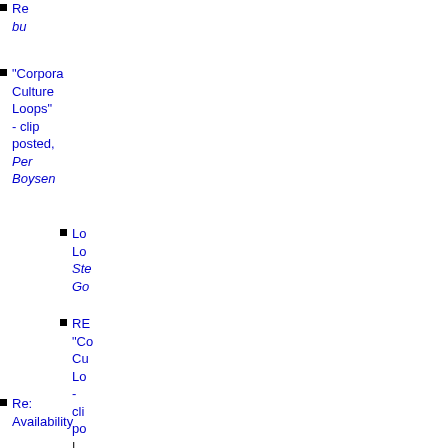Re: bu...
"Corporate Culture Loops" - clip posted, Per Boysen
Lo... Lo... Ste... Go...
RE: "Corporate Culture Loops" - clip posted | Sq... |
Re: Availability